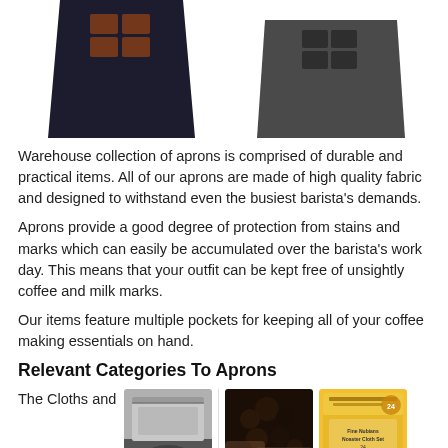[Figure (photo): Two barista aprons shown from above — a dark navy/black apron with brown leather pocket grid on the left, and a dark grey/charcoal apron with dark pocket grid on the right]
Warehouse collection of aprons is comprised of durable and practical items. All of our aprons are made of high quality fabric and designed to withstand even the busiest barista's demands.
Aprons provide a good degree of protection from stains and marks which can easily be accumulated over the barista's work day. This means that your outfit can be kept free of unsightly coffee and milk marks.
Our items feature multiple pockets for keeping all of your coffee making essentials on hand.
Relevant Categories To Aprons
The Cloths and
[Figure (photo): A metallic silver/grey bag of coffee beans]
[Figure (photo): Dark close-up photo of coffee beans or espresso]
[Figure (photo): A yellow packaged coaster set product]